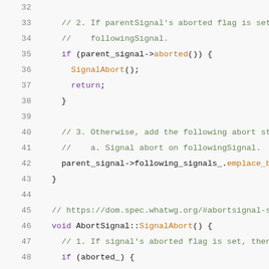[Figure (screenshot): C++ source code snippet showing AbortSignal implementation, lines 32-52, with syntax highlighting. Comments in green, keywords in purple, identifiers in dark/brown.]